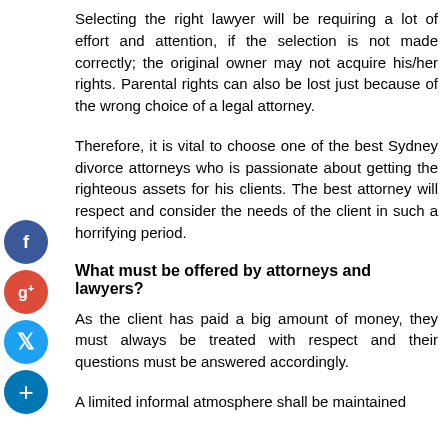Selecting the right lawyer will be requiring a lot of effort and attention, if the selection is not made correctly; the original owner may not acquire his/her rights. Parental rights can also be lost just because of the wrong choice of a legal attorney.
Therefore, it is vital to choose one of the best Sydney divorce attorneys who is passionate about getting the righteous assets for his clients. The best attorney will respect and consider the needs of the client in such a horrifying period.
What must be offered by attorneys and lawyers?
As the client has paid a big amount of money, they must always be treated with respect and their questions must be answered accordingly.
A limited informal atmosphere shall be maintained